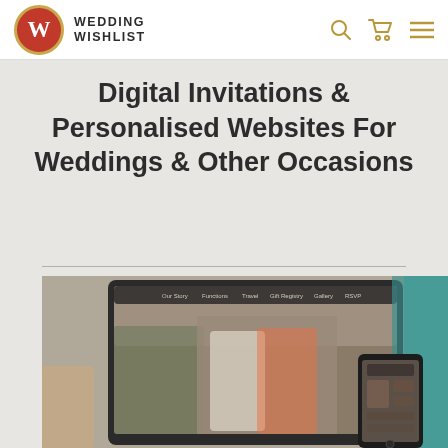WEDDING WISHLIST
Digital Invitations & Personalised Websites For Weddings & Other Occasions
[Figure (screenshot): Screenshot of a wedding website shown on a laptop and mobile phone, featuring a couple in traditional Indian attire with navigation menu showing 'Our Story, Functions, Travel, Gift Registry, Gallery, RSVP'. A hand is visible reaching into the frame from the left, and a woman in a teal saree is visible on the right edge.]